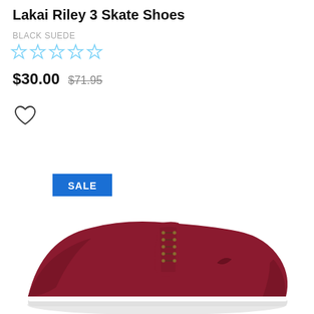Lakai Riley 3 Skate Shoes
BLACK SUEDE
[Figure (other): Five empty star rating icons in light blue outline]
$30.00  $71.95 (strikethrough)
[Figure (other): Heart/wishlist icon outline]
SALE badge in blue rectangle
[Figure (photo): Lakai Riley 3 skate shoe in dark red/burgundy suede with white sole, side profile view]